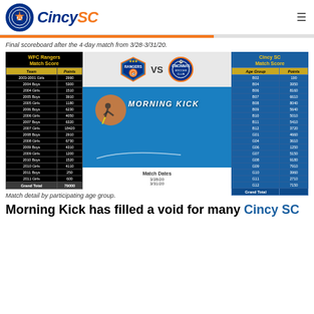CincySC
Final scoreboard after the 4-day match from 3/28-3/31/20.
| Team | Points |
| --- | --- |
| 2003-2001 Girls | 2990 |
| 2004 Boys | 5300 |
| 2004 Girls | 1510 |
| 2005 Boys | 3910 |
| 2005 Girls | 1180 |
| 2006 Boys | 6230 |
| 2006 Girls | 4050 |
| 2007 Boys | 6320 |
| 2007 Girls | 18420 |
| 2008 Boys | 2910 |
| 2008 Girls | 6730 |
| 2009 Boys | 4310 |
| 2009 Girls | 1200 |
| 2010 Boys | 1520 |
| 2010 Girls | 4110 |
| 2011 Boys | 250 |
| 2011 Girls | 600 |
| Grand Total | 79000 |
[Figure (logo): Rangers vs Cincinnati Soccer Club logos with Morning Kick branding and match dates 3/28/20 and 3/31/20]
| Age Group | Points |
| --- | --- |
| B02 | 190 |
| B04 | 3950 |
| B06 | 8160 |
| B07 | 6610 |
| B08 | 8040 |
| B09 | 5640 |
| B10 | 5010 |
| B11 | 5410 |
| B12 | 3720 |
| G01 | 4660 |
| G04 | 3610 |
| G06 | 1250 |
| G07 | 5150 |
| G08 | 9180 |
| G09 | 7910 |
| G10 | 3960 |
| G11 | 2710 |
| G12 | 7150 |
| Grand Total |  |
Match detail by participating age group.
Morning Kick has filled a void for many Cincy SC